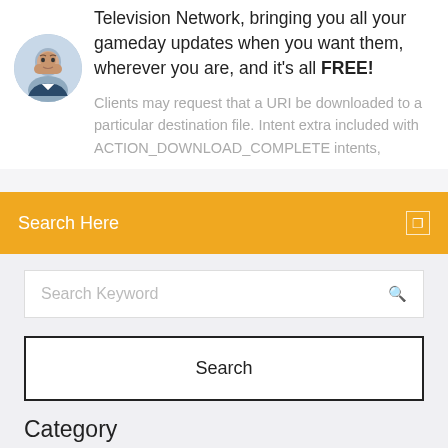Television Network, bringing you all your gameday updates when you want them, wherever you are, and it's all FREE!
[Figure (photo): Round avatar photo of a man]
Clients may request that a URI be downloaded to a particular destination file. Intent extra included with ACTION_DOWNLOAD_COMPLETE intents,
Search Here
Search Keyword
Search
Category